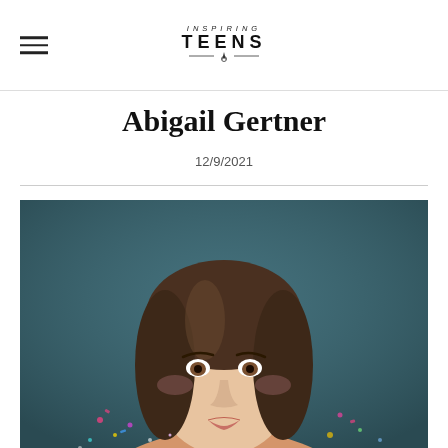Inspiring Teens [logo]
Abigail Gertner
12/9/2021
[Figure (photo): Portrait photo of a young woman with brown hair blowing confetti/glitter, posed against a dark teal background]